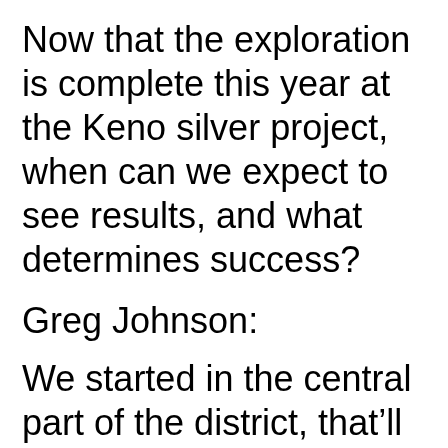Now that the exploration is complete this year at the Keno silver project, when can we expect to see results, and what determines success?
Greg Johnson:
We started in the central part of the district, that'll be the first area that we'll start to see numbers. Then on the